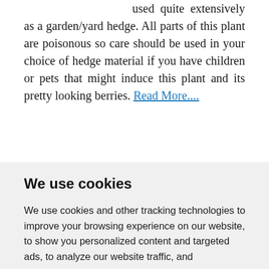used quite extensively as a garden/yard hedge. All parts of this plant are poisonous so care should be used in your choice of hedge material if you have children or pets that might induce this plant and its pretty looking berries. Read More....
We use cookies
We use cookies and other tracking technologies to improve your browsing experience on our website, to show you personalized content and targeted ads, to analyze our website traffic, and